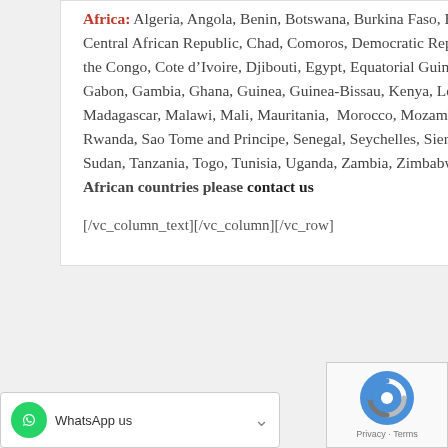Africa: Algeria, Angola, Benin, Botswana, Burkina Faso, Burundi, Cabo Verde, Cameroon, Central African Republic, Chad, Comoros, Democratic Republic of the Congo, Republic of the Congo, Cote d'Ivoire, Djibouti, Egypt, Equatorial Guinea, Eritrea, Eswatini, Ethiopia, Gabon, Gambia, Ghana, Guinea, Guinea-Bissau, Kenya, Lesotho, Liberia, Libya, Madagascar, Malawi, Mali, Mauritania, Morocco, Mozambique, Namibia, Niger, Nigeria, Rwanda, Sao Tome and Principe, Senegal, Seychelles, Sierra Leone, South Africa, South Sudan, Tanzania, Togo, Tunisia, Uganda, Zambia, Zimbabwe. For delivery to other African countries please contact us
[/vc_column_text][/vc_column][/vc_row]